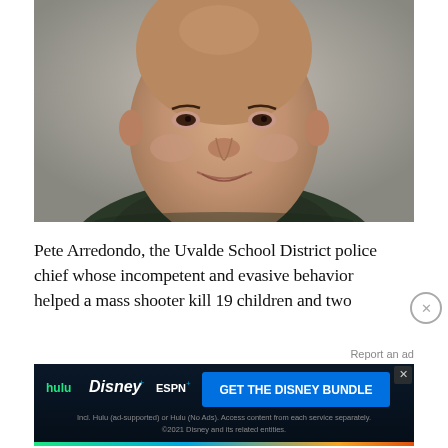[Figure (photo): Headshot photo of Pete Arredondo, a middle-aged Hispanic man wearing a dark suit jacket with a white collared shirt, smiling slightly, shown from the shoulders up against a gray background.]
Pete Arredondo, the Uvalde School District police chief whose incompetent and evasive behavior helped a mass shooter kill 19 children and two
[Figure (other): Advertisement banner for Disney Bundle featuring Hulu, Disney+, and ESPN+ logos with text 'GET THE DISNEY BUNDLE'. Fine print: 'Incl. Hulu (ad-supported) or Hulu (No Ads). Access content from each service separately. ©2021 Disney and its related entities.']